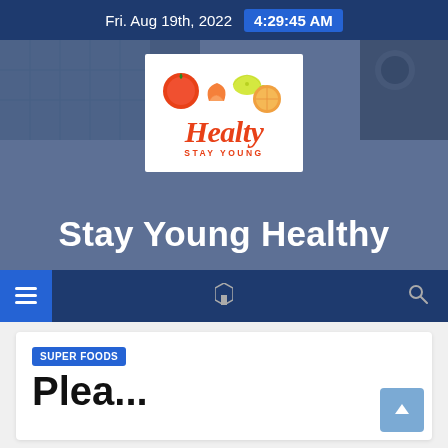Fri. Aug 19th, 2022  4:29:45 AM
[Figure (logo): Healty Stay Young logo with fruit illustrations (orange, lemon, grapefruit) and red italic wordmark]
Stay Young Healthy
[Figure (infographic): Navigation bar with hamburger menu icon (highlighted in blue), a bookmark/link icon in center, and search icon on right]
SUPER FOODS
Plea...